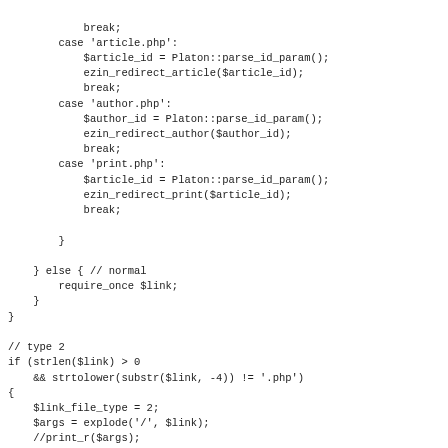break;
        case 'article.php':
            $article_id = Platon::parse_id_param();
            ezin_redirect_article($article_id);
            break;
        case 'author.php':
            $author_id = Platon::parse_id_param();
            ezin_redirect_author($author_id);
            break;
        case 'print.php':
            $article_id = Platon::parse_id_param();
            ezin_redirect_print($article_id);
            break;

        }

    } else { // normal
        require_once $link;
    }
}

// type 2
if (strlen($link) > 0
    && strtolower(substr($link, -4)) != '.php')
{
    $link_file_type = 2;
    $args = explode('/', $link);
    //print_r($args);

    if ( $ezin_cfg['link_file_type'] != 2
        && $ezin_cfg['link_redirect'] > 0)
    { // redirect

        // section
        if (count($args) == 1
            && strlen($args[0]) > 0)
        {
            ezin_redirect_section($args[0]);